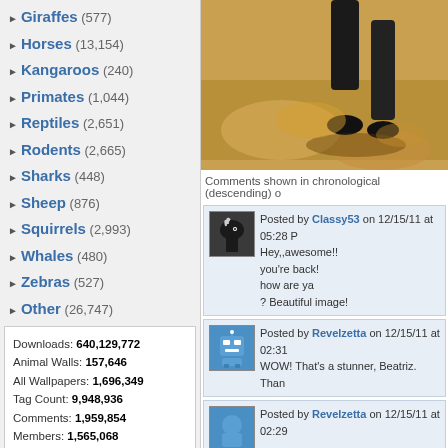Giraffes (577)
Horses (13,154)
Kangaroos (240)
Primates (1,044)
Reptiles (2,651)
Rodents (2,665)
Sharks (448)
Sheep (876)
Squirrels (2,993)
Whales (480)
Zebras (527)
Other (26,747)
Downloads: 640,129,772
Animal Walls: 157,646
All Wallpapers: 1,696,349
Tag Count: 9,948,936
Comments: 1,959,854
Members: 1,565,068
Votes: 12,971,712
5,924 Users Online
103 members, 5,821 guests
AlvaradoSulwen, Anderlecht, artinconstruction, Astro, BestPsychic000, bmpressurewashing2, Boatent98, boliou, brandbajade, bridgecounseling, brighterfinance, CarrollDentistry, cell-phone-hacking, chatonfragile, Cleaners567, ColbyRichardson,
[Figure (photo): Close-up photo of horse hooves on sandy ground]
Comments shown in chronological (descending) o
Posted by Classy53 on 12/15/11 at 05:28 P
Hey,,awesome!!
you're back!
how are ya
? Beautiful image!
Posted by Revelzetta on 12/15/11 at 02:31
WOW! That's a stunner, Beatriz. Than
Posted by Revelzetta on 12/15/11 at 02:29